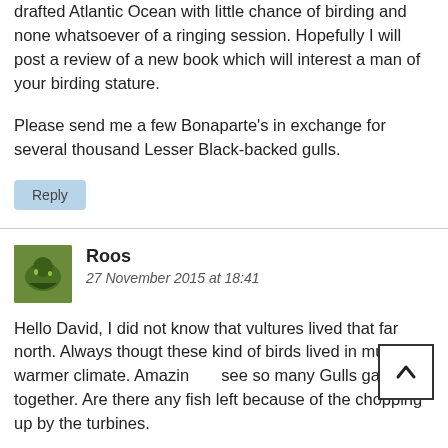drafted Atlantic Ocean with little chance of birding and none whatsoever of a ringing session. Hopefully I will post a review of a new book which will interest a man of your birding stature.
Please send me a few Bonaparte's in exchange for several thousand Lesser Black-backed gulls.
Reply
Roos
27 November 2015 at 18:41
Hello David, I did not know that vultures lived that far north. Always thougt these kind of birds lived in much warmer climate. Amazing to see so many Gulls gathering together. Are there any fish left because of the chopping up by the turbines.